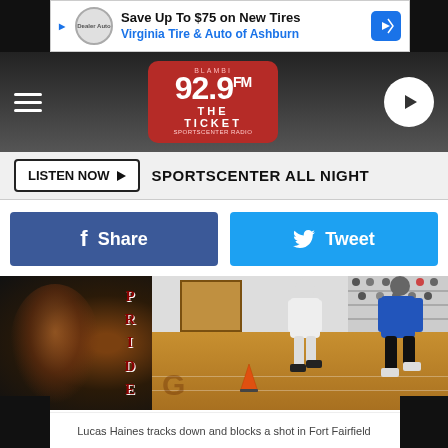[Figure (screenshot): Advertisement banner: Save Up To $75 on New Tires - Virginia Tire & Auto of Ashburn]
[Figure (screenshot): 92.9 FM The Ticket radio station navigation bar with hamburger menu and play button]
LISTEN NOW ▶  SPORTSCENTER ALL NIGHT
[Figure (screenshot): Facebook Share button and Twitter Tweet button side by side]
[Figure (photo): Basketball game photo showing Lucas Haines tracking down and blocking a shot in Fort Fairfield. Court with PRIDE sign on wall, players in action on hardwood floor.]
Lucas Haines tracks down and blocks a shot in Fort Fairfield